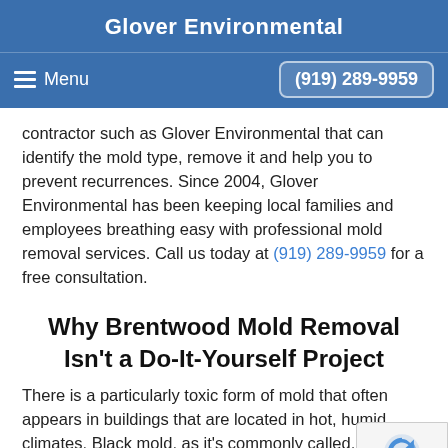Glover Environmental
Menu  (919) 289-9959
contractor such as Glover Environmental that can identify the mold type, remove it and help you to prevent recurrences. Since 2004, Glover Environmental has been keeping local families and employees breathing easy with professional mold removal services. Call us today at (919) 289-9959 for a free consultation.
Why Brentwood Mold Removal Isn’t a Do-It-Yourself Project
There is a particularly toxic form of mold that often appears in buildings that are located in hot, humid climates. Black mold, as it’s commonly called, can grow in